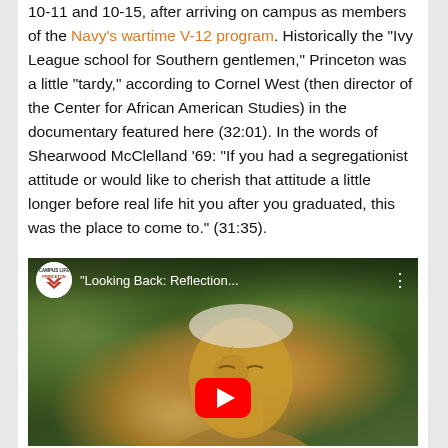10-11 and 10-15, after arriving on campus as members of the Navy's wartime V-12 program. Historically the "Ivy League school for Southern gentlemen," Princeton was a little "tardy," according to Cornel West (then director of the Center for African American Studies) in the documentary featured here (32:01). In the words of Shearwood McClelland '69: "If you had a segregationist attitude or would like to cherish that attitude a little longer before real life hit you after you graduated, this was the place to come to." (31:35).
[Figure (screenshot): YouTube video thumbnail showing an elderly man with white hair outdoors among green foliage. Video titled 'Looking Back: Reflection...' from Campus Life Princeton channel. A red YouTube play button is visible in the lower center.]